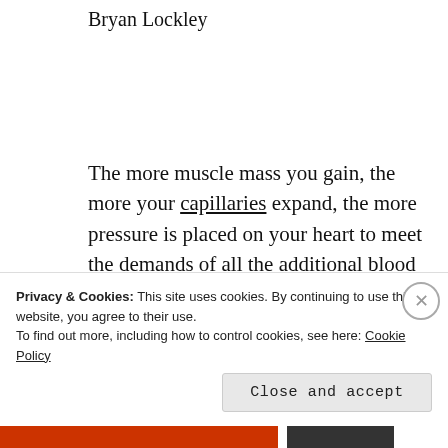Bryan Lockley
The more muscle mass you gain, the more your capillaries expand, the more pressure is placed on your heart to meet the demands of all the additional blood flow.
Privacy & Cookies: This site uses cookies. By continuing to use this website, you agree to their use.
To find out more, including how to control cookies, see here: Cookie Policy
Close and accept